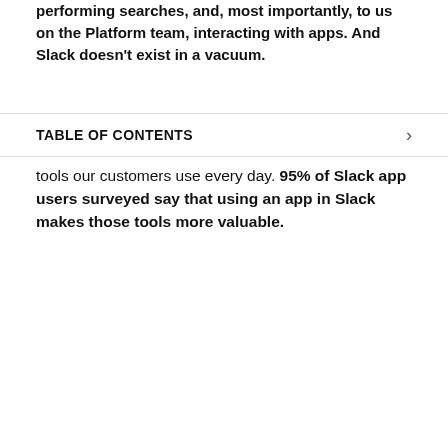performing searches, and, most importantly, to us on the Platform team, interacting with apps. And Slack doesn't exist in a vacuum.
TABLE OF CONTENTS
tools our customers use every day. 95% of Slack app users surveyed say that using an app in Slack makes those tools more valuable.
[Figure (infographic): Slack logo and two stat bubbles: purple bubble '9+ hours' connected per workday; teal bubble '~90 minutes' of active usage per workday]